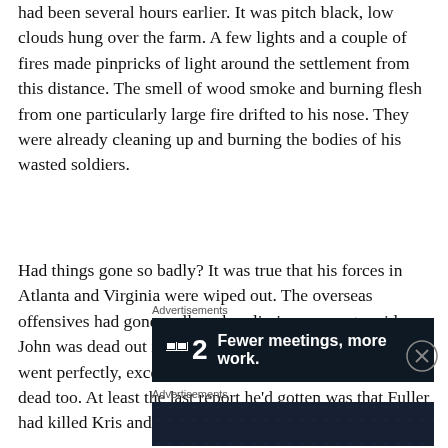had been several hours earlier.  It was pitch black, low clouds hung over the farm.  A few lights and a couple of fires made pinpricks of light around the settlement from this distance.  The smell of wood smoke and burning flesh from one particularly large fire drifted to his nose.  They were already cleaning up and burning the bodies of his wasted soldiers.
Had things gone so badly?  It was true that his forces in Atlanta and Virginia were wiped out.  The overseas offensives had gone well, and preliminary reports said John was dead out in the desert.  The Gander Acres attack went perfectly, except somehow all of his soldiers were dead too.  At least the last report he'd gotten was that Fuller had killed Kris and Alicia.
Advertisements
[Figure (other): Dark advertisement banner: logo icon with number 2, text 'Fewer meetings, more work.']
Advertisements
[Figure (other): Dark advertisement banner: 'Create surveys, polls, quizzes, and forms.' with WordPress and other logos]